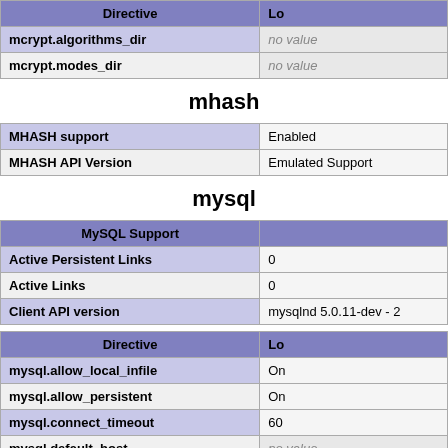| Directive | Lo |
| --- | --- |
| mcrypt.algorithms_dir | no value |
| mcrypt.modes_dir | no value |
mhash
| MHASH support | Enabled |
| MHASH API Version | Emulated Support |
mysql
| MySQL Support |  |
| --- | --- |
| Active Persistent Links | 0 |
| Active Links | 0 |
| Client API version | mysqlnd 5.0.11-dev - 2 |
| Directive | Lo |
| --- | --- |
| mysql.allow_local_infile | On |
| mysql.allow_persistent | On |
| mysql.connect_timeout | 60 |
| mysql.default_host | no value |